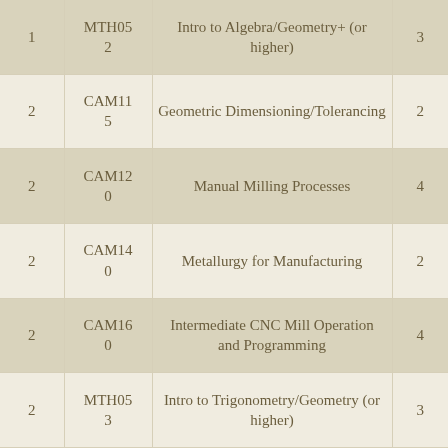| 1 | MTH052 | Intro to Algebra/Geometry+ (or higher) | 3 |
| 2 | CAM115 | Geometric Dimensioning/Tolerancing | 2 |
| 2 | CAM120 | Manual Milling Processes | 4 |
| 2 | CAM140 | Metallurgy for Manufacturing | 2 |
| 2 | CAM160 | Intermediate CNC Mill Operation and Programming | 4 |
| 2 | MTH053 | Intro to Trigonometry/Geometry (or higher) | 3 |